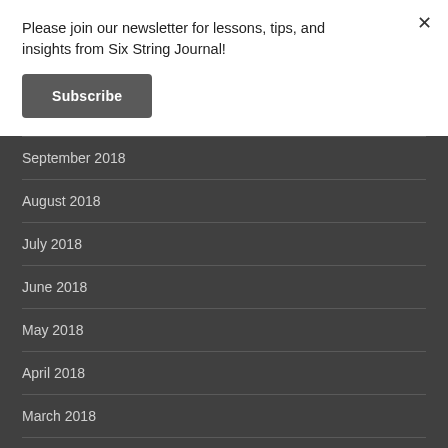Please join our newsletter for lessons, tips, and insights from Six String Journal!
Subscribe
September 2018
August 2018
July 2018
June 2018
May 2018
April 2018
March 2018
February 2018